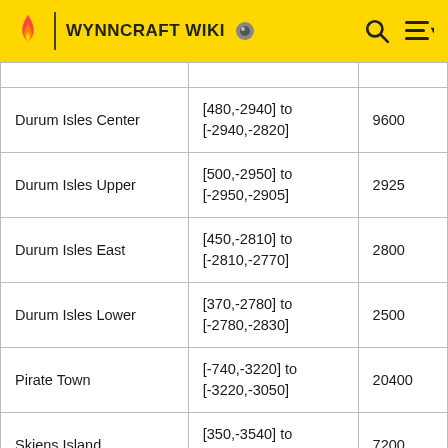WYNNCRAFT WIKI
| Durum Isles Center | [480,-2940] to [-2940,-2820] | 9600 |
| Durum Isles Upper | [500,-2950] to [-2950,-2905] | 2925 |
| Durum Isles East | [450,-2810] to [-2810,-2770] | 2800 |
| Durum Isles Lower | [370,-2780] to [-2780,-2830] | 2500 |
| Pirate Town | [-740,-3220] to [-3220,-3050] | 20400 |
| Skiens Island | [350,-3540] to [-3540,-3420] | 7200 |
| Dujgon Nation | [1000,-3550] to | 12750 |